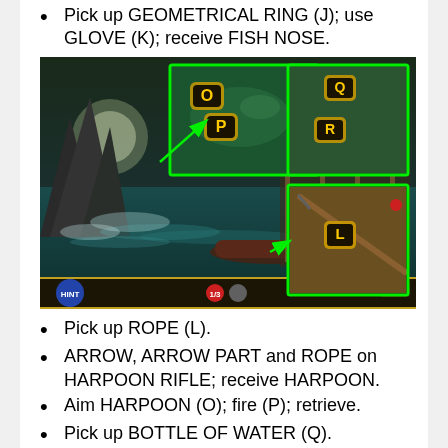Pick up GEOMETRICAL RING (J); use GLOVE (K); receive FISH NOSE.
[Figure (screenshot): Game screenshot showing a dark harbor/dock scene with a boat in water. Green bordered zoom boxes show items labeled O, P (in upper-center zoom), Q, R (in upper-right zoom), and L (in lower-right zoom). Green arrows point from the main scene to the zoomed areas.]
Pick up ROPE (L).
ARROW, ARROW PART and ROPE on HARPOON RIFLE; receive HARPOON.
Aim HARPOON (O); fire (P); retrieve.
Pick up BOTTLE OF WATER (Q).